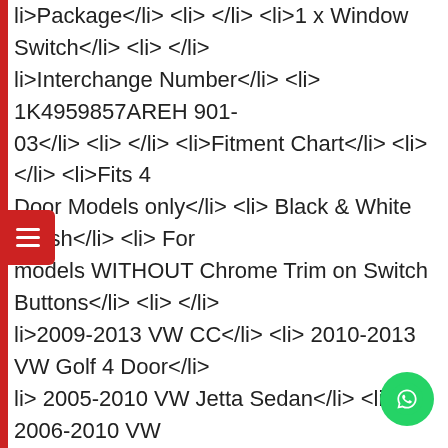li>Package</li> <li> </li> <li>1 x Window Switch</li> <li> </li> li>Interchange Number</li> <li> 1K4959857AREH 901-03</li> <li> </li> <li>Fitment Chart</li> <li> </li> <li>Fits 4 Door Models only</li> <li> Black & White Finish</li> <li> For models WITHOUT Chrome Trim on Switch Buttons</li> <li> </li> li>2009-2013 VW CC</li> <li> 2010-2013 VW Golf 4 Door</li> li> 2005-2010 VW Jetta Sedan</li> <li> 2006-2010 VW at</li> <li> 2009-2016 VW Tiguan</li> <li> </li> <li> </li> pecifications</li> <li> </li> <li>Placement on Vehicle:Front eft</li> <li> </li> <li>Condition: New</li> <li> </li> li>Warranty:1 Year</li> <li> </li> <li>Product Grade:High Quality</li>, Power Window Control Switch for 2009-2016 VW Tiguan 2009-2013 VW CC Front Left We provide you with the latest high quality products. A daily low price store, shop for things you love Thousands of the best online stores and brands. Power Window Control Switch for 2009-2016 VW Tiguan 2009-2013 VW CC Front Left.